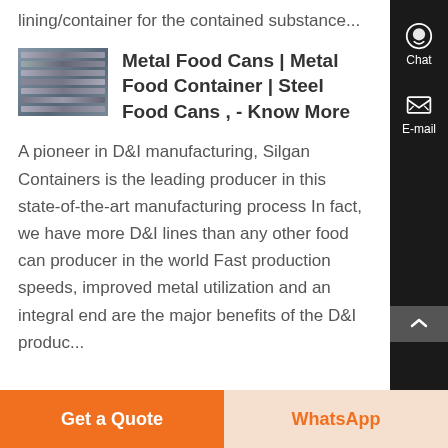lining/container for the contained substance...
Metal Food Cans | Metal Food Container | Steel Food Cans , - Know More
[Figure (photo): Thumbnail photo of stacked metal shelving or steel containers]
A pioneer in D&I manufacturing, Silgan Containers is the leading producer in this state-of-the-art manufacturing process In fact, we have more D&I lines than any other food can producer in the world Fast production speeds, improved metal utilization and an integral end are the major benefits of the D&I process...